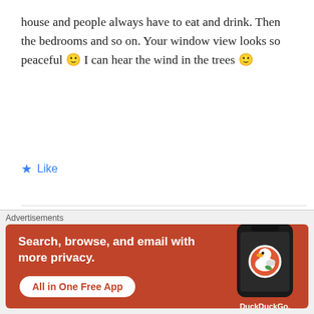house and people always have to eat and drink. Then the bedrooms and so on. Your window view looks so peaceful 🙂 I can hear the wind in the trees 🙂
★ Like
Meg
JULY 1, 2014 AT 8:12 AM
[Figure (photo): Round avatar photo of a smiling woman with brown curly hair]
Advertisements
[Figure (infographic): DuckDuckGo advertisement banner: 'Search, browse, and email with more privacy. All in One Free App' with DuckDuckGo logo on phone mockup]